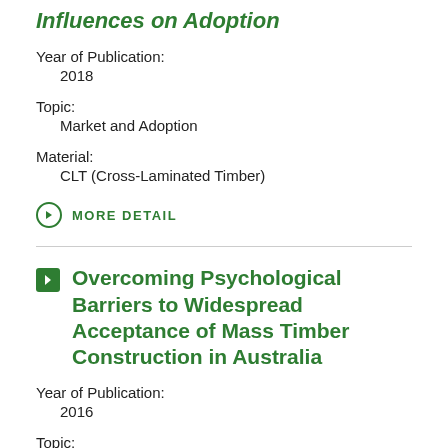Influences on Adoption
Year of Publication:
2018
Topic:
Market and Adoption
Material:
CLT (Cross-Laminated Timber)
MORE DETAIL
Overcoming Psychological Barriers to Widespread Acceptance of Mass Timber Construction in Australia
Year of Publication:
2016
Topic: